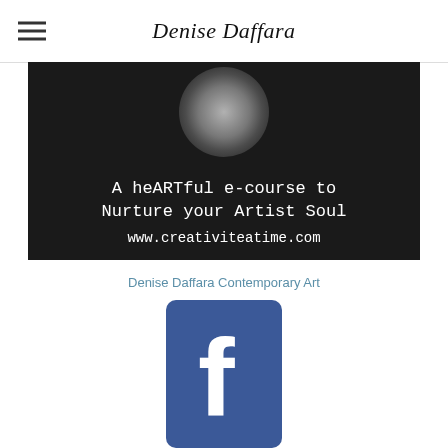Denise Daffara
[Figure (illustration): Dark promotional banner for a heartful e-course reading: 'A heARTful e-course to Nurture your Artist Soul www.creativiteatime.com' with a circular abstract dark artwork at top]
Denise Daffara Contemporary Art
[Figure (logo): Facebook logo icon — blue rounded square with white 'f' letterform]